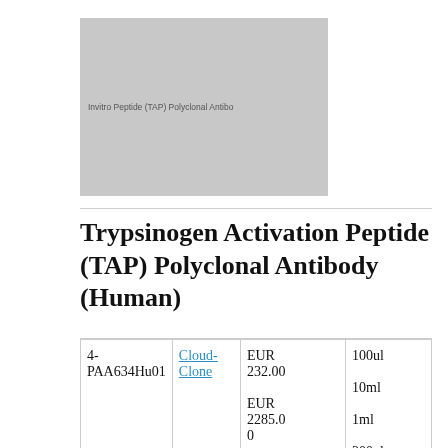[Figure (illustration): Thumbnail image placeholder with text: InvitroP eptide (TAP) Polyclonal Antibo]
Trypsinogen Activation Peptide (TAP) Polyclonal Antibody (Human)
| 4-PAA634Hu01 | Cloud-Clone | EUR 232.00
EUR 2285.00
EUR 574.00
EUR | 100ul
10ml
1ml
200ul
20ul |